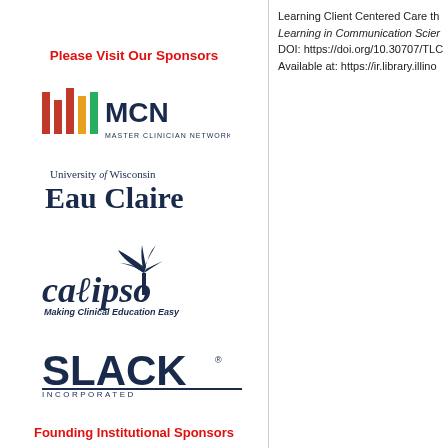Please Visit Our Sponsors
[Figure (logo): MCN Master Clinician Network logo with colored vertical bars and dark navy text]
[Figure (logo): University of Wisconsin Eau Claire logo in dark navy text]
[Figure (logo): Calipso - Making Clinical Education Easy logo in dark navy]
[Figure (logo): SLACK Incorporated logo in dark navy]
Founding Institutional Sponsors
[Figure (logo): Illinois university seal logo, partially visible at bottom]
Learning Client Centered Care th
Learning in Communication Scier
DOI: https://doi.org/10.30707/TLC
Available at: https://ir.library.illino